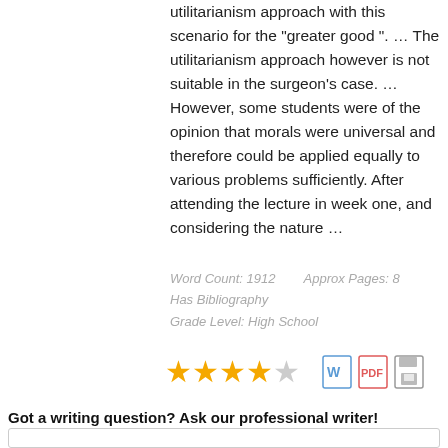utilitarianism approach with this scenario for the "greater good ". … The utilitarianism approach however is not suitable in the surgeon's case. … However, some students were of the opinion that morals were universal and therefore could be applied equally to various problems sufficiently. After attending the lecture in week one, and considering the nature …
Word Count: 1912    Approx Pages: 8
Has Bibliography
Grade Level: High School
[Figure (other): 4 out of 5 stars rating with yellow filled stars and one empty star, followed by Word document icon (blue), PDF icon (red), and save/floppy disk icon (gray)]
Got a writing question? Ask our professional writer!